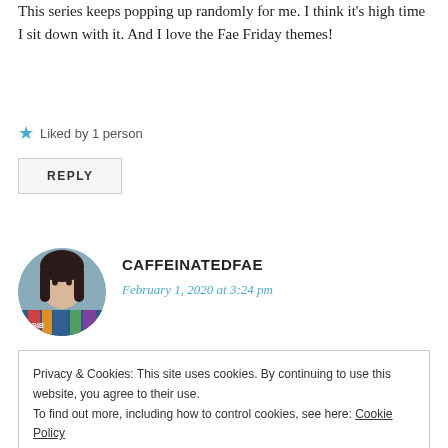This series keeps popping up randomly for me. I think it's high time I sit down with it. And I love the Fae Friday themes!
Liked by 1 person
REPLY
CAFFEINATEDFAE
February 1, 2020 at 3:24 pm
[Figure (photo): Circular avatar photo of a person with dark hair holding books]
Privacy & Cookies: This site uses cookies. By continuing to use this website, you agree to their use.
To find out more, including how to control cookies, see here: Cookie Policy
Close and accept
REPLY